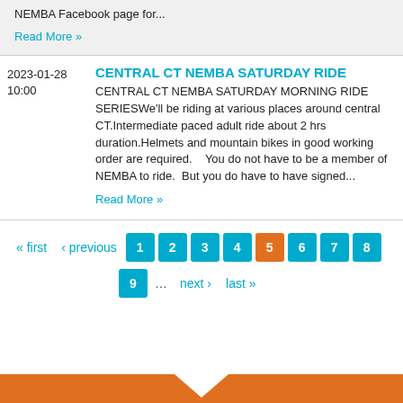NEMBA Facebook page for...
Read More »
CENTRAL CT NEMBA SATURDAY RIDE
2023-01-28
10:00
CENTRAL CT NEMBA SATURDAY MORNING RIDE SERIESWe'll be riding at various places around central CT.Intermediate paced adult ride about 2 hrs duration.Helmets and mountain bikes in good working order are required.    You do not have to be a member of NEMBA to ride.  But you do have to have signed...
Read More »
« first  ‹ previous  1  2  3  4  5  6  7  8  9  ...  next ›  last »